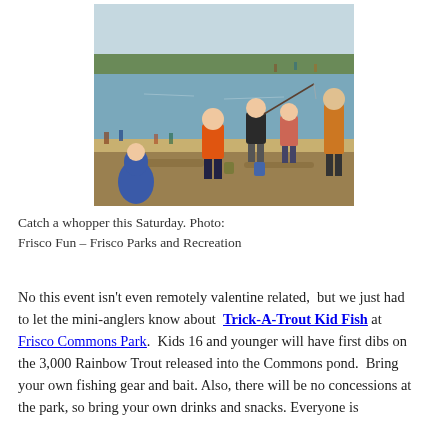[Figure (photo): Children fishing at a pond in a park, with several kids standing along the bank holding fishing rods over the water. Trees and more people are visible in the background.]
Catch a whopper this Saturday. Photo: Frisco Fun – Frisco Parks and Recreation
No this event isn't even remotely valentine related,  but we just had to let the mini-anglers know about  Trick-A-Trout Kid Fish at Frisco Commons Park.  Kids 16 and younger will have first dibs on the 3,000 Rainbow Trout released into the Commons pond.  Bring your own fishing gear and bait. Also, there will be no concessions at the park, so bring your own drinks and snacks. Everyone is